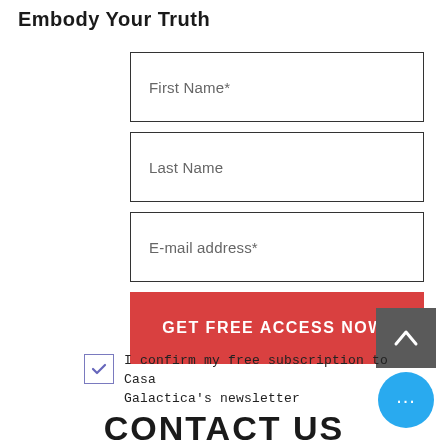Embody Your Truth
First Name*
Last Name
E-mail address*
GET FREE ACCESS NOW!
I confirm my free subscription to Casa Galactica's newsletter
CONTACT US